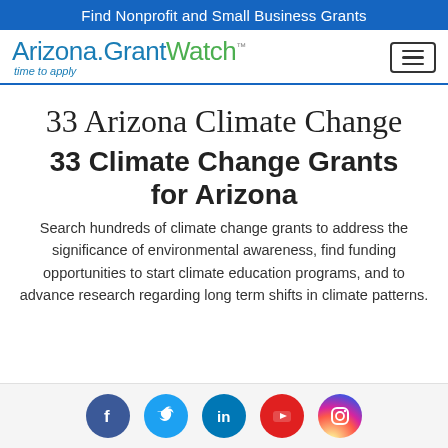Find Nonprofit and Small Business Grants
[Figure (logo): ArizonaGrantWatch logo with tagline 'time to apply']
33 Arizona Climate Change
33 Climate Change Grants for Arizona
Search hundreds of climate change grants to address the significance of environmental awareness, find funding opportunities to start climate education programs, and to advance research regarding long term shifts in climate patterns.
[Figure (infographic): Social media icons: Facebook, Twitter, LinkedIn, YouTube, Instagram]